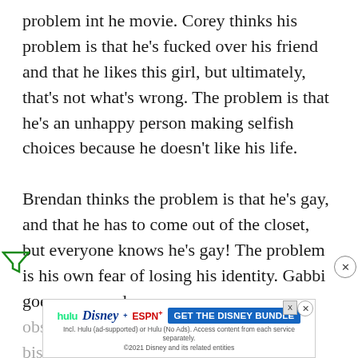problem int he movie. Corey thinks his problem is that he's fucked over his friend and that he likes this girl, but ultimately, that's not what's wrong. The problem is that he's an unhappy person making selfish choices because he doesn't like his life.

Brendan thinks the problem is that he's gay, and that he has to come out of the closet, but everyone knows he's gay! The problem is his own fear of losing his identity. Gabbi goes crazy and obsesses over the fact that she might be bisexual, that s[he] wh[at]...
[Figure (other): Advertisement banner for Disney Bundle (Hulu, Disney+, ESPN+) with GET THE DISNEY BUNDLE CTA button]